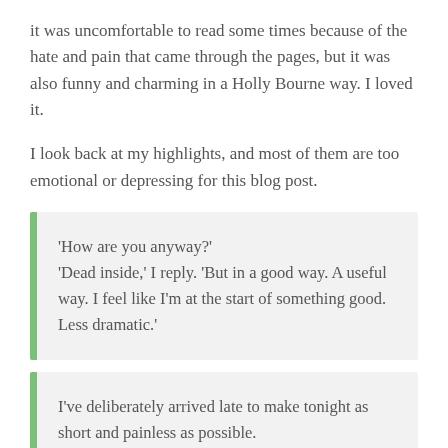it was uncomfortable to read some times because of the hate and pain that came through the pages, but it was also funny and charming in a Holly Bourne way. I loved it.
I look back at my highlights, and most of them are too emotional or depressing for this blog post.
'How are you anyway?' 'Dead inside,' I reply. 'But in a good way. A useful way. I feel like I'm at the start of something good. Less dramatic.'
I've deliberately arrived late to make tonight as short and painless as possible.